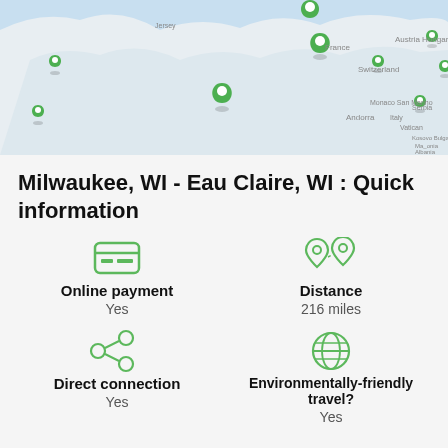[Figure (map): Map showing Europe with green location pin markers on various countries including France, Switzerland, Austria, Hungary, Italy, and others.]
Milwaukee, WI - Eau Claire, WI : Quick information
Online payment
Yes
Distance
216 miles
Direct connection
Yes
Environmentally-friendly travel?
Yes